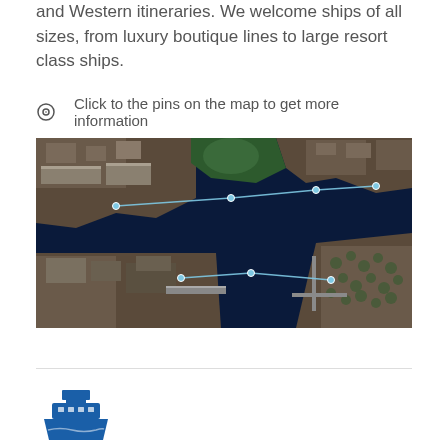and Western itineraries. We welcome ships of all sizes, from luxury boutique lines to large resort class ships.
Click to the pins on the map to get more information
[Figure (map): Aerial/satellite view of a port area showing docks, waterways, and surrounding urban infrastructure with pin markers connected by lines on the map.]
[Figure (illustration): Blue cruise ship icon/logo illustration, partial view at bottom of page.]